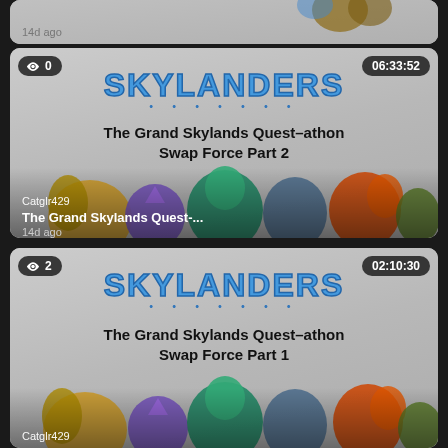[Figure (screenshot): Partial top of a video thumbnail card showing '14d ago' timestamp. Skylanders game characters visible at top.]
[Figure (screenshot): Video thumbnail card: Skylanders logo, title 'The Grand Skylands Quest-athon Swap Force Part 2', view count badge '0', duration '06:33:52', username 'Catglr429', video title 'The Grand Skylands Quest-...', timestamp '14d ago'. Game characters row at bottom.]
[Figure (screenshot): Video thumbnail card (partial): Skylanders logo, title 'The Grand Skylands Quest-athon Swap Force Part 1', view count badge '2', duration '02:10:30', username 'Catglr429'. Game characters row at bottom.]